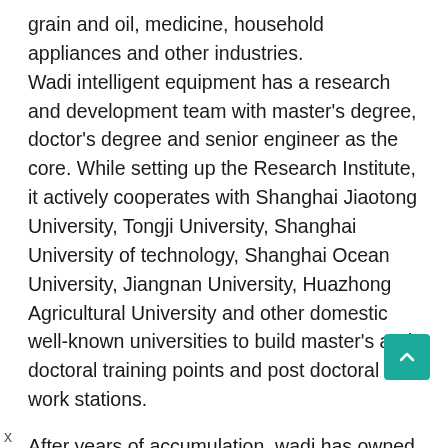grain and oil, medicine, household appliances and other industries. Wadi intelligent equipment has a research and development team with master's degree, doctor's degree and senior engineer as the core. While setting up the Research Institute, it actively cooperates with Shanghai Jiaotong University, Tongji University, Shanghai University of technology, Shanghai Ocean University, Jiangnan University, Huazhong Agricultural University and other domestic well-known universities to build master's and doctoral training points and post doctoral work stations.
After years of accumulation, wadi has owned 217 patents, and has undertaken a number of